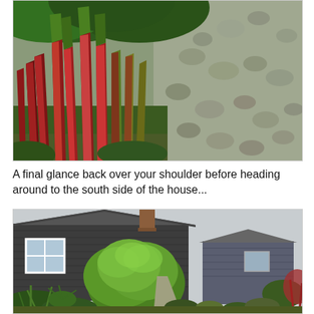[Figure (photo): Close-up photo of red and green ornamental grass (Imperata cylindrica 'Red Baron' / Japanese blood grass) with tall red-tipped blades, surrounded by green foliage and a gravel/pebble ground cover in the background.]
A final glance back over your shoulder before heading around to the south side of the house...
[Figure (photo): Photo of a dark gray/charcoal painted craftsman-style house with a large green leafy shrub (possibly fatsia or Japanese aralia) in the front yard. A paved walkway leads to the front. Various plants and greenery surround the path. A brick chimney is visible on the roofline, and a second smaller gray structure is visible to the right.]